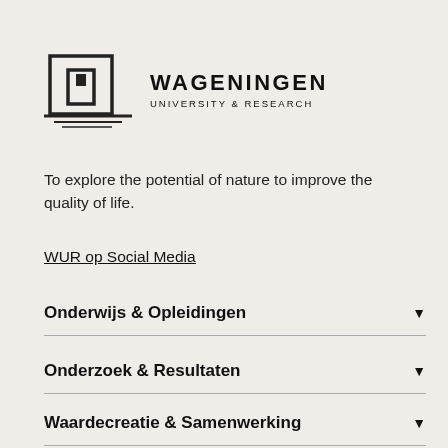[Figure (logo): Wageningen University & Research logo with building/arch icon and text]
To explore the potential of nature to improve the quality of life.
WUR op Social Media
Onderwijs & Opleidingen
Onderzoek & Resultaten
Waardecreatie & Samenwerking